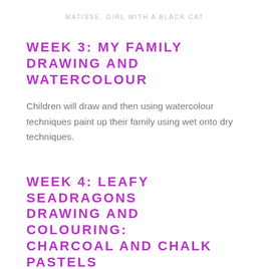MATISSE, GIRL WITH A BLACK CAT
WEEK 3: MY FAMILY DRAWING AND WATERCOLOUR
Children will draw and then using watercolour techniques paint up their family using wet onto dry techniques.
WEEK 4: LEAFY SEADRAGONS DRAWING AND COLOURING: CHARCOAL AND CHALK PASTELS
Children will learn about the beautiful Leafy